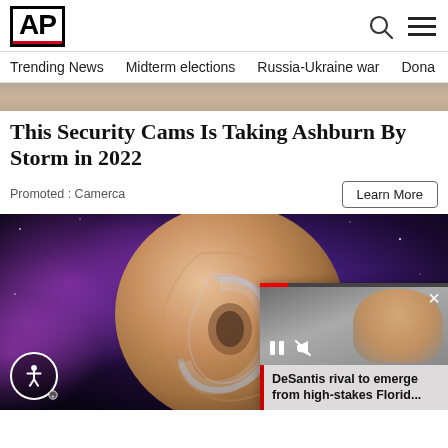AP
Trending News   Midterm elections   Russia-Ukraine war   Dona
[Figure (photo): Partial image at top of page (skin/face detail, cropped)]
This Security Cams Is Taking Ashburn By Storm in 2022
Promoted : Camerca
Learn More
[Figure (photo): Large composite image of a human ear against a purple galaxy/nebula space background, with a circular glowing 3D graphic overlay. An accessibility icon is in the lower left. A video overlay in the lower right shows a woman smiling, with a video caption reading 'DeSantis rival to emerge from high-stakes Florid...']
DeSantis rival to emerge from high-stakes Florid...